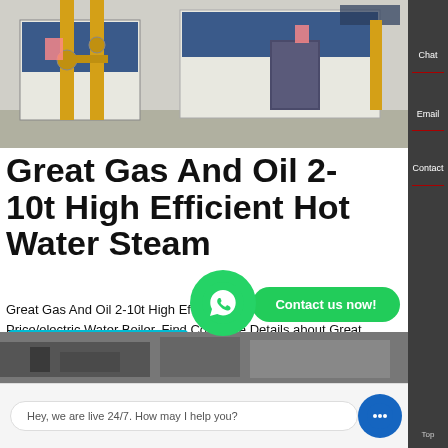[Figure (photo): Industrial boiler room photo showing large white/grey boiler units with yellow gas pipes and fittings, blue accents, inside a factory building]
Great Gas And Oil 2-10t High Efficient Hot Water Steam
Great Gas And Oil 2-10t High Efficient Hot Water Steam Boiler Price/electric Water Boiler, Find Complete Details about Great Gas And Oil 2-10t High Efficient Hot Water Steam Boiler Price/electric Water Boiler,Steam Boiler,Gas Boiler,Steam Boiler Price from Boilers Supplier or Manufacturer-Henan Fantianliang Machinery & Equipment Co., Ltd.
[Figure (screenshot): WhatsApp contact icon (green circle with phone handset) and green 'Contact us now!' button overlay]
[Figure (photo): Bottom strip photo of industrial boiler equipment]
Hey, we are live 24/7. How may I help you?